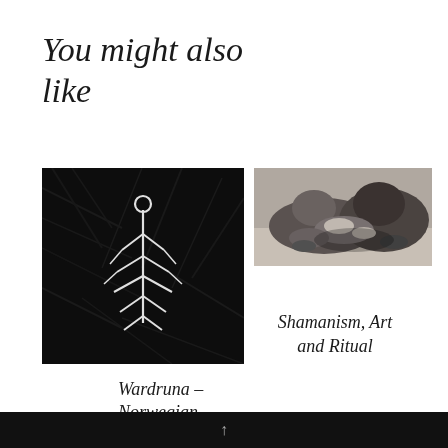You might also like
[Figure (photo): Dark background with a white runic/shamanic symbol (Wardruna album art style) - a stylized tree or rune figure in white on black feather texture]
[Figure (photo): Black and white photograph of two wolves or dogs lying together on a floor]
Shamanism, Art and Ritual
Wardruna – Norwegian